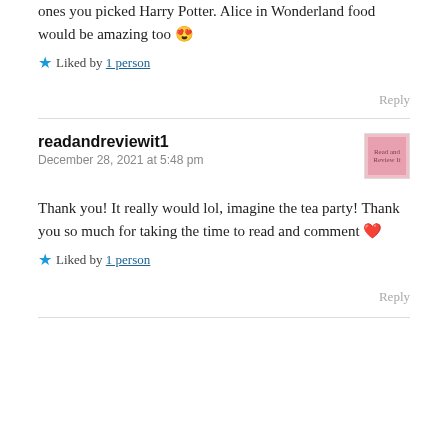ones you picked Harry Potter. Alice in Wonderland food would be amazing too 😍
⭐ Liked by 1 person
Reply
readandreviewit1
December 28, 2021 at 5:48 pm
Thank you! It really would lol, imagine the tea party! Thank you so much for taking the time to read and comment ❤️
⭐ Liked by 1 person
Reply